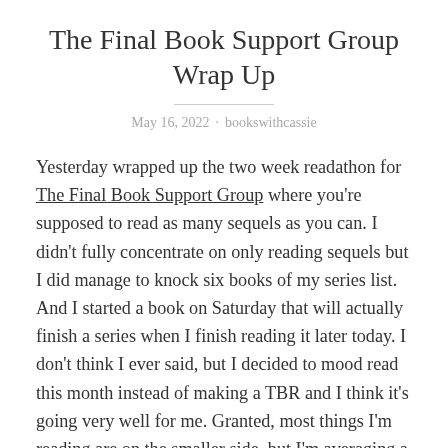The Final Book Support Group Wrap Up
May 16, 2022 · bookswithcassie
Yesterday wrapped up the two week readathon for The Final Book Support Group where you're supposed to read as many sequels as you can. I didn't fully concentrate on only reading sequels but I did manage to knock six books of my series list. And I started a book on Saturday that will actually finish a series when I finish reading it later today. I don't think I ever said, but I decided to mood read this month instead of making a TBR and I think it's going very well for me. Granted, most things I'm reading are on the smaller side, but I'm averaging a book a day so far this month. I'm not sure how long that is going to last but I'm pretty happy to spend almost all my free time reading right now so maybe I will stick to mood reading